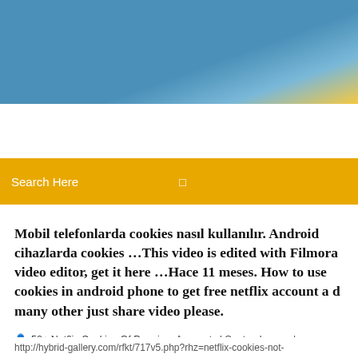[Figure (photo): Website header banner with blue sky gradient background and partial yellow/orange accent on right side.]
[Figure (screenshot): Orange/yellow search bar with text 'Search Here' and a search icon on the right.]
Mobil telefonlarda cookies nasıl kullanılır. Android cihazlarda cookies ...This video is edited with Filmora video editor, get it here ...Hace 11 meses. How to use cookies in android phone to get free netflix account a d many other just share video please.
50+ Netflix Cookies Of Premium Accounts | September ...   |   1 Comments
http://hybrid-gallery.com/rfkt/717v5.php?rhz=netflix-cookies-not-